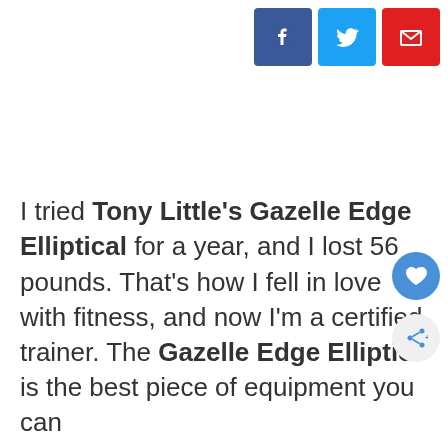[Figure (other): Social share buttons: Facebook (blue), Twitter (light blue), Email (red) in top right corner]
I tried Tony Little’s Gazelle Edge Elliptical for a year, and I lost 56 pounds. That’s how I fell in love with fitness, and now I’m a certified trainer. The Gazelle Edge Elliptic is the best piece of equipment you can